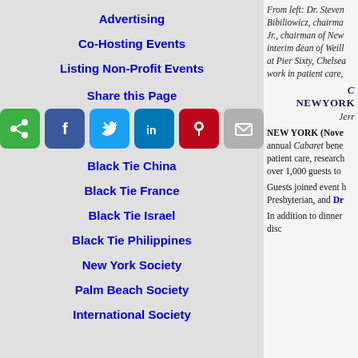Advertising
Co-Hosting Events
Listing Non-Profit Events
Share this Page
[Figure (infographic): Row of social share buttons: share (green), Facebook (blue), Twitter (light blue), LinkedIn (dark blue), Pinterest (red), Email (gray)]
Black Tie China
Black Tie France
Black Tie Israel
Black Tie Philippines
New York Society
Palm Beach Society
International Society
From left: Dr. Steven Bibiliowicz, chairman, Jr., chairman of New interim dean of Weill at Pier Sixty, Chelsea work in patient care,
C NEWYORK
Jerry
NEW YORK (Nove annual Cabaret bene patient care, research over 1,000 guests to
Guests joined event b Presbyterian, and Dra
In addition to dinner disc